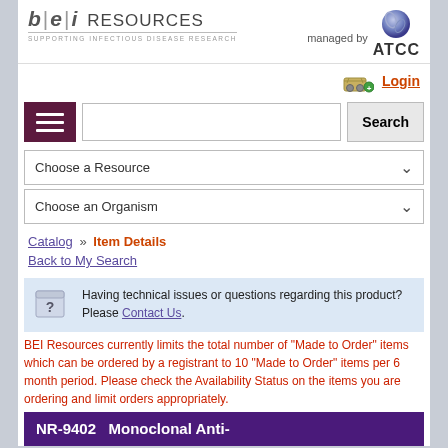BEI RESOURCES | SUPPORTING INFECTIOUS DISEASE RESEARCH — managed by ATCC
[Figure (logo): BEI Resources logo with 'b|e|i RESOURCES' and tagline 'SUPPORTING INFECTIOUS DISEASE RESEARCH']
[Figure (logo): ATCC logo with sphere graphic and 'ATCC' text, with 'managed by' label]
[Figure (screenshot): Shopping cart icon with green plus button]
Login
[Figure (screenshot): Hamburger menu button (three white lines on dark purple background)]
Search
Choose a Resource
Choose an Organism
Catalog » Item Details
Back to My Search
Having technical issues or questions regarding this product? Please Contact Us.
BEI Resources currently limits the total number of "Made to Order" items which can be ordered by a registrant to 10 "Made to Order" items per 6 month period. Please check the Availability Status on the items you are ordering and limit orders appropriately.
NR-9402   Monoclonal Anti-